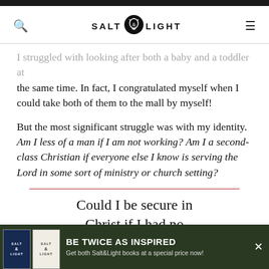SALT & LIGHT
I struggled with looking after both a baby and a toddler at the same time. In fact, I congratulated myself when I could take both of them to the mall by myself!
But the most significant struggle was with my identity. Am I less of a man if I am not working? Am I a second-class Christian if everyone else I know is serving the Lord in some sort of ministry or church setting?
Could I be secure in Christ if I had no
[Figure (infographic): Bottom advertisement banner with dark green background showing two Salt & Light book covers and text: BE TWICE AS INSPIRED - Get both Salt&Light books at a special price now!]